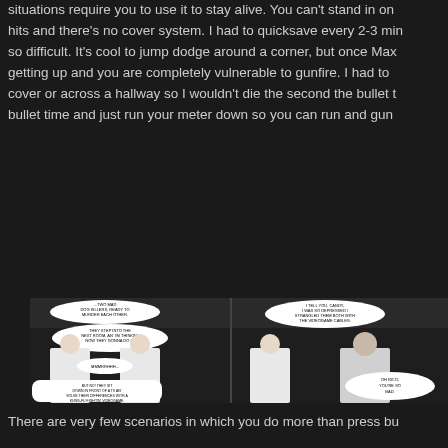situations require you to use it to stay alive. You can't stand in on hits and there's no cover system. I had to quicksave every 2-3 min so difficult. It's cool to jump dodge around a corner, but once Max getting up and you are completely vulnerable to gunfire. I had to cover or across a hallway so I wouldn't die the second the bullet t bullet time and just run your meter down so you can run and gun
[Figure (screenshot): Screenshot from Max Payne showing comic book style cutscene panels with actors in black and white, with speech bubbles. Left panel: '...TWO MAD DOG KILLERS, READY TO MURDER EACH OTHER.' 'THEY STEP INTO THE NEXT ROOM, AN' I'M THINKIN', NOW THEY GONNA DO IT.' 'MMMRRHHH...' 'BUT NO! THEY SIT DOWN IN FRONT OF A TV AN' SOLVE THEIR DIFFERENCES WITH A KUNG-FU FIGHTIN' VIDEOGAME.' Right panel: 'I TELL YOU, CANDY, I WAS SO DEPRESSED I STRANGLED THEM BOTH WITH THE VIDEOGAME CABLES.' 'OH RICO, YOU'RE SO BAD.']
There are very few scenarios in which you do more than press bu